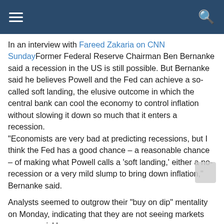Navigation bar with hamburger menu and search icon
In an interview with Fareed Zakaria on CNN SundayFormer Federal Reserve Chairman Ben Bernanke said a recession in the US is still possible. But Bernanke said he believes Powell and the Fed can achieve a so-called soft landing, the elusive outcome in which the central bank can cool the economy to control inflation without slowing it down so much that it enters a recession. "Economists are very bad at predicting recessions, but I think the Fed has a good chance – a reasonable chance – of making what Powell calls a 'soft landing,' either a no-recession or a very mild slump to bring down inflation," Bernanke said.
Analysts seemed to outgrow their "buy on dip" mentality on Monday, indicating that they are not seeing markets recover quickly.
"Valuations are not much cheaper given higher interest rates and a weaker earnings outlook, in our view," BlackRock strategists wrote in notes on Monday. "The higher path of